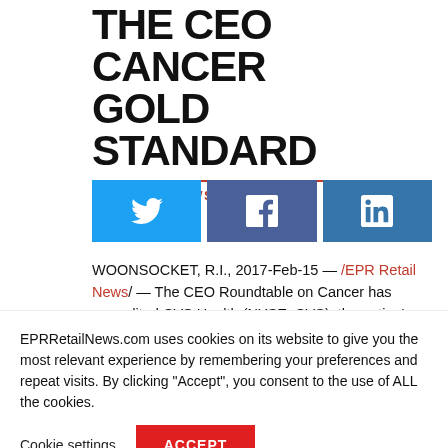[Figure (photo): Side image strip showing shelving/retail products in blue-green tones]
THE CEO CANCER GOLD STANDARD
by RETAIL NEWS EDITOR
[Figure (infographic): Social share buttons: Twitter (blue), Facebook (dark blue), LinkedIn (blue)]
WOONSOCKET, R.I., 2017-Feb-15 — /EPR Retail News/ — The CEO Roundtable on Cancer has accredited CVS Health (NYSE: CVS), the nation's largest
EPRRetailNews.com uses cookies on its website to give you the most relevant experience by remembering your preferences and repeat visits. By clicking “Accept”, you consent to the use of ALL the cookies.
Cookie settings
ACCEPT